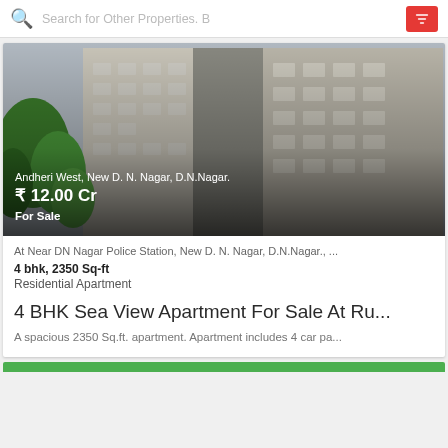Search for Other Properties. B
[Figure (photo): Exterior photo of a multi-storey residential apartment building with green trees in the foreground]
Andheri West, New D. N. Nagar, D.N.Nagar.
₹ 12.00 Cr
For Sale
At Near DN Nagar Police Station, New D. N. Nagar, D.N.Nagar., ...
4 bhk, 2350 Sq-ft
Residential Apartment
4 BHK Sea View Apartment For Sale At Ru...
A spacious 2350 Sq.ft. apartment. Apartment includes 4 car pa...